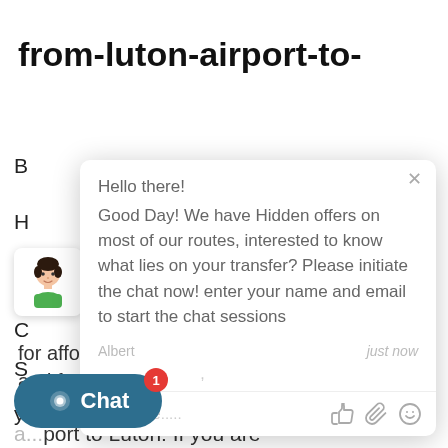from-luton-airport-to-
B
H
L
C
S
y
a...port to Luton: If you are
[Figure (screenshot): Live chat popup widget with greeting message from Albert saying 'Hello there! Good Day! We have Hidden offers on most of our routes, interested to know what lies on your transfer? Please initiate the chat now! enter your name and email to start the chat sessions', with a text input field placeholder 'Type here.....' and icons for thumbs up, paperclip, and smiley. Close button top right. Sender shown as Albert, timestamp 'just now'.]
for affordable minicab rides to
and from taxi-from-luton-airport-to-
[Figure (screenshot): Dark teal Chat button at bottom left with a chat bubble icon, label 'Chat', and a red notification badge showing '1']
[Figure (illustration): Avatar of a cartoon man with dark hair and green shirt, shown in a white rounded card]